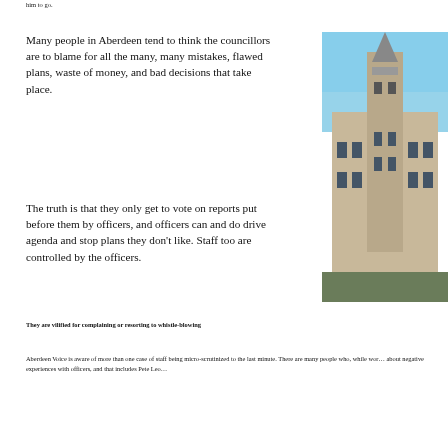him to go.
Many people in Aberdeen tend to think the councillors are to blame for all the many, many mistakes, flawed plans, waste of money, and bad decisions that take place.
[Figure (photo): Photograph of a gothic stone building with a tall spire, appears to be Marischal College or similar Aberdeen landmark, blue sky visible.]
The truth is that they only get to vote on reports put before them by officers, and officers can and do drive agenda and stop plans they don’t like. Staff too are controlled by the officers.
They are vilified for complaining or resorting to whistle-blowing
Aberdeen Voice is aware of more than one case of staff being micro-scrutinized to the last minute. There are many people who, while wor… about negative experiences with officers, and that includes Pete Leo…